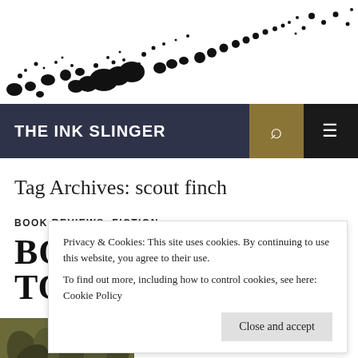[Figure (illustration): Black ink splatter/splash design on white background, dots and blobs scattered across the header area]
THE INK SLINGER
Tag Archives: scout finch
BOOK REVIEWS, FICTION
BOOK REVIEW: TO KILL A
Privacy & Cookies: This site uses cookies. By continuing to use this website, you agree to their use. To find out more, including how to control cookies, see here: Cookie Policy
Close and accept
[Figure (illustration): Dark olive/green botanical illustration (leaves/foliage) at the bottom left]
There are classics. And then